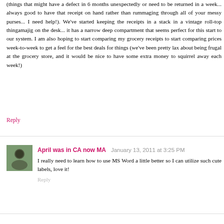(things that might have a defect in 6 months unexpectedly or need to be returned in a week... always good to have that receipt on hand rather than rummaging through all of your messy purses... I need help!). We've started keeping the receipts in a stack in a vintage roll-top thingamajig on the desk... it has a narrow deep compartment that seems perfect for this start to our system. I am also hoping to start comparing my grocery receipts to start comparing prices week-to-week to get a feel for the best deals for things (we've been pretty lax about being frugal at the grocery store, and it would be nice to have some extra money to squirrel away each week!)
Reply
April was in CA now MA
January 13, 2011 at 3:25 PM
I really need to learn how to use MS Word a little better so I can utilize such cute labels, love it!
Reply